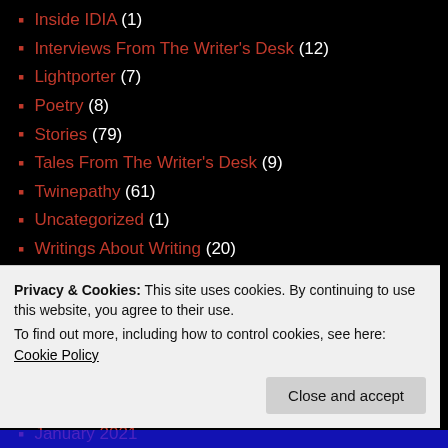Inside IDIA (1)
Interviews From The Writer's Desk (12)
Lightporter (7)
Poetry (8)
Stories (79)
Tales From The Writer's Desk (9)
Twinepathy (61)
Uncategorized (1)
Writings About Writing (20)
THROUGH THE TIME PORTAL
June 2022
December 2021
August 2021
May 2021
January 2021
October 2020
Privacy & Cookies: This site uses cookies. By continuing to use this website, you agree to their use. To find out more, including how to control cookies, see here: Cookie Policy